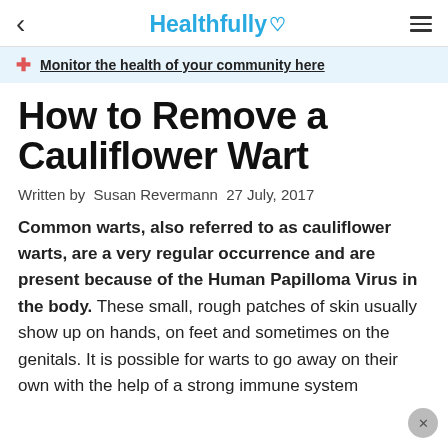Healthfully
Monitor the health of your community here
How to Remove a Cauliflower Wart
Written by  Susan Revermann  27 July, 2017
Common warts, also referred to as cauliflower warts, are a very regular occurrence and are present because of the Human Papilloma Virus in the body. These small, rough patches of skin usually show up on hands, on feet and sometimes on the genitals. It is possible for warts to go away on their own with the help of a strong immune system